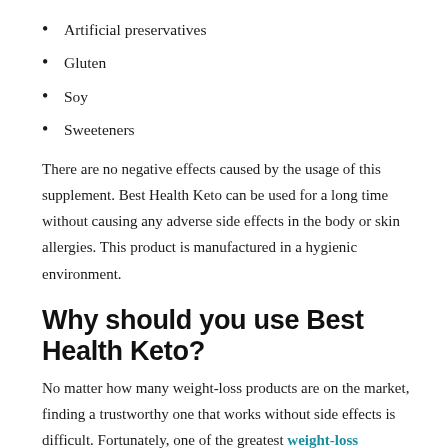Artificial preservatives
Gluten
Soy
Sweeteners
There are no negative effects caused by the usage of this supplement. Best Health Keto can be used for a long time without causing any adverse side effects in the body or skin allergies. This product is manufactured in a hygienic environment.
Why should you use Best Health Keto?
No matter how many weight-loss products are on the market, finding a trustworthy one that works without side effects is difficult. Fortunately, one of the greatest weight-loss treatments is the Best Health Keto. It includes natural components in its composition, making it safe for everyone. The costs are inexpensive and readily available in the market. It gives you more energy and, as the name implies,